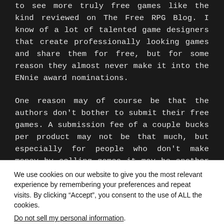to see more truly free games like the kind reviewed on The Free RPG Blog. I know of a lot of talented game designers that create professionally looking games and share them for free, but for some reason they almost never make it into the ENnie award nominations.
One reason may of course be that the authors don't bother to submit their free games. A submission fee of a couple bucks per product may not be that much, but especially for people who don't make money by selling games it may be another hurdle. Of course I am speculating here, but another reason might be that
We use cookies on our website to give you the most relevant experience by remembering your preferences and repeat visits. By clicking “Accept”, you consent to the use of ALL the cookies.
Do not sell my personal information.